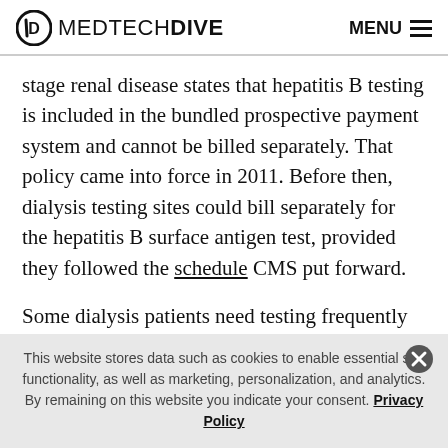MEDTECHDIVE  MENU
stage renal disease states that hepatitis B testing is included in the bundled prospective payment system and cannot be billed separately. That policy came into force in 2011. Before then, dialysis testing sites could bill separately for the hepatitis B surface antigen test, provided they followed the schedule CMS put forward.
Some dialysis patients need testing frequently for hepatitis B as they are susceptible to the virus, which
This website stores data such as cookies to enable essential site functionality, as well as marketing, personalization, and analytics. By remaining on this website you indicate your consent. Privacy Policy